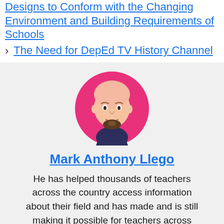Designs to Conform with the Changing Environment and Building Requirements of Schools
The Need for DepEd TV History Channel
[Figure (illustration): Circular avatar illustration of a bald man with a beard wearing a dark top, on a pink/magenta background circle.]
Mark Anthony Llego
He has helped thousands of teachers across the country access information about their field and has made and is still making it possible for teachers across different regions to share their ideas which are practice...